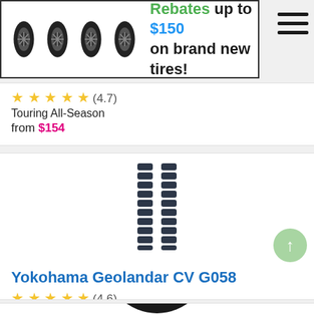[Figure (infographic): Promotional banner showing four black alloy wheel tires and text: Rebates up to $150 on brand new tires!]
★★★★★ (4.7)
Touring All-Season
from $154
[Figure (illustration): Tire tread pattern viewed from front, dark gray on white background]
Yokohama Geolandar CV G058
★★★★★ (4.6)
Touring All-Season
from $154
[Figure (photo): Partial view of a tire with alloy wheel, black on white background, partially cut off at bottom]